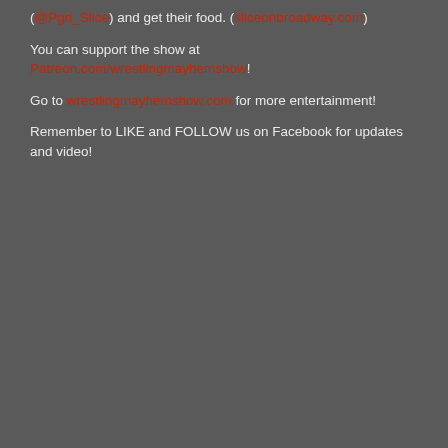(@Pgri_Slice) and get their food. (sliceonbroadway.com)
You can support the show at Patreon.com/wrestlingmayhemshow!
Go to wrestlingmayhemshow.com for more entertainment!
Remember to LIKE and FOLLOW us on Facebook for updates and video!